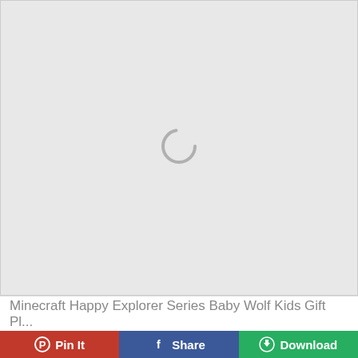[Figure (screenshot): Loading spinner (circular arc) centered on a light gray background placeholder area]
Minecraft Happy Explorer Series Baby Wolf Kids Gift Pl...
Pin It
Share
Download